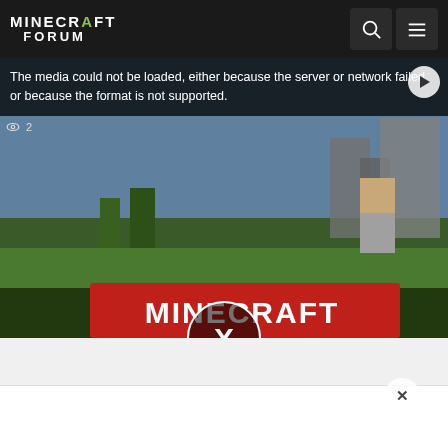MINECRAFT FORUM
The media could not be loaded, either because the server or network failed or because the format is not supported.
[Figure (screenshot): Video thumbnail showing 'MINECRAFT REJECTS NFTS' text in red on a Minecraft-themed background. A circular X dismiss button is overlaid in the center.]
X dismiss